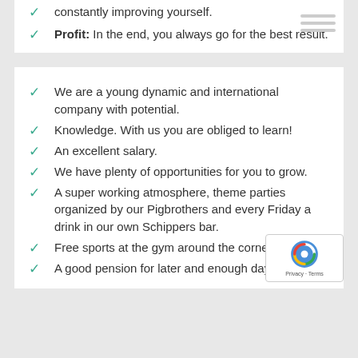constantly improving yourself.
Profit: In the end, you always go for the best result.
We are a young dynamic and international company with potential.
Knowledge. With us you are obliged to learn!
An excellent salary.
We have plenty of opportunities for you to grow.
A super working atmosphere, theme parties organized by our Pigbrothers and every Friday a drink in our own Schippers bar.
Free sports at the gym around the corner.
A good pension for later and enough days off.